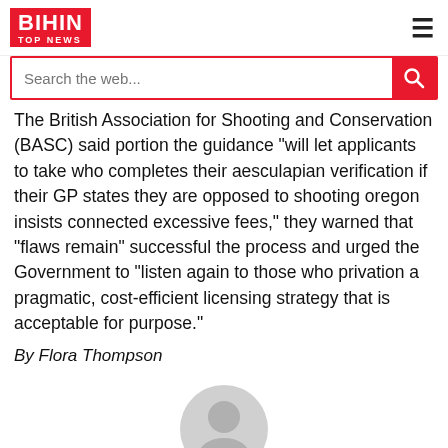BIHIN TOP NEWS
The British Association for Shooting and Conservation (BASC) said portion the guidance “will let applicants to take who completes their aesculapian verification if their GP states they are opposed to shooting oregon insists connected excessive fees,” they warned that “flaws remain” successful the process and urged the Government to “listen again to those who privation a pragmatic, cost-efficient licensing strategy that is acceptable for purpose.”
By Flora Thompson
[Figure (illustration): Default user avatar: a grey circle with a grey silhouette of a person (head and shoulders)]